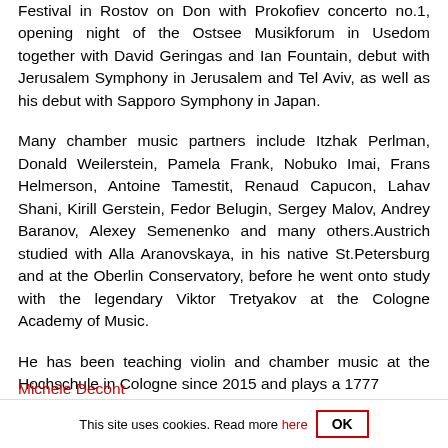Festival in Rostov on Don with Prokofiev concerto no.1, opening night of the Ostsee Musikforum in Usedom together with David Geringas and Ian Fountain, debut with Jerusalem Symphony in Jerusalem and Tel Aviv, as well as his debut with Sapporo Symphony in Japan.
Many chamber music partners include Itzhak Perlman, Donald Weilerstein, Pamela Frank, Nobuko Imai, Frans Helmerson, Antoine Tamestit, Renaud Capucon, Lahav Shani, Kirill Gerstein, Fedor Belugin, Sergey Malov, Andrey Baranov, Alexey Semenenko and many others.Austrich studied with Alla Aranovskaya, in his native St.Petersburg and at the Oberlin Conservatory, before he went onto study with the legendary Viktor Tretyakov at the Cologne Academy of Music.
He has been teaching violin and chamber music at the Hochschule in Cologne since 2015 and plays a 1777 Michele Decon...
This site uses cookies. Read more here   OK